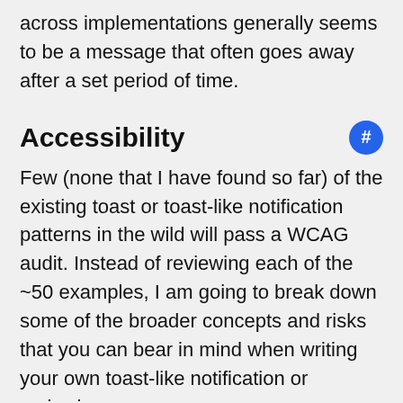across implementations generally seems to be a message that often goes away after a set period of time.
Accessibility
Few (none that I have found so far) of the existing toast or toast-like notification patterns in the wild will pass a WCAG audit. Instead of reviewing each of the ~50 examples, I am going to break down some of the broader concepts and risks that you can bear in mind when writing your own toast-like notification or reviewing one